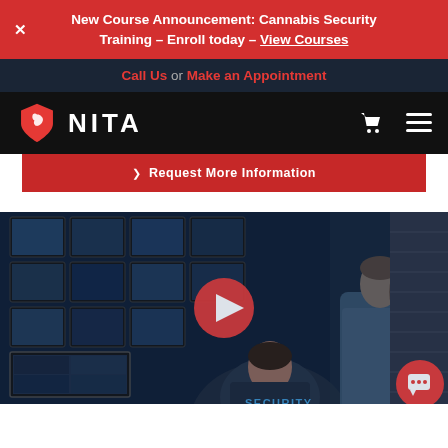New Course Announcement: Cannabis Security Training – Enroll today – View Courses
Call Us or Make an Appointment
[Figure (logo): NITA logo with red shield icon and white text on black navigation bar]
Request More Information
[Figure (photo): Security control room with two officers, one wearing a SECURITY jacket, watching multiple camera monitors on a wall, with a red play button overlay in the center]